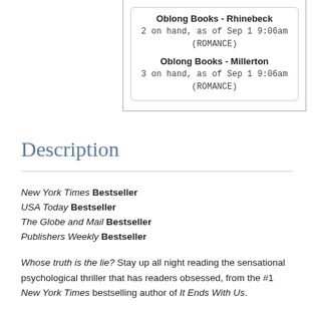| Oblong Books - Rhinebeck | 2 on hand, as of Sep 1 9:06am | (ROMANCE) |
| Oblong Books - Millerton | 3 on hand, as of Sep 1 9:06am | (ROMANCE) |
Description
New York Times Bestseller
USA Today Bestseller
The Globe and Mail Bestseller
Publishers Weekly Bestseller
Whose truth is the lie? Stay up all night reading the sensational psychological thriller that has readers obsessed, from the #1 New York Times bestselling author of It Ends With Us.